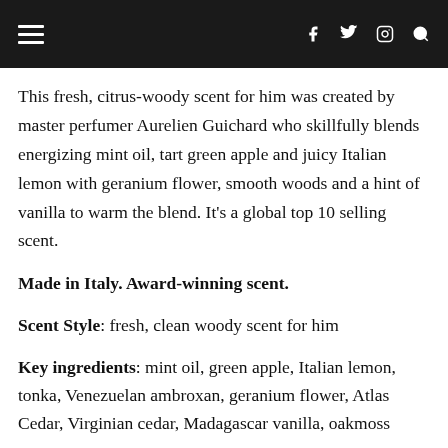≡  f  𝕏  ⓘ  🔍
This fresh, citrus-woody scent for him was created by master perfumer Aurelien Guichard who skillfully blends energizing mint oil, tart green apple and juicy Italian lemon with geranium flower, smooth woods and a hint of vanilla to warm the blend. It's a global top 10 selling scent.
Made in Italy. Award-winning scent.
Scent Style: fresh, clean woody scent for him
Key ingredients: mint oil, green apple, Italian lemon, tonka, Venezuelan ambroxan, geranium flower, Atlas Cedar, Virginian cedar, Madagascar vanilla, oakmoss